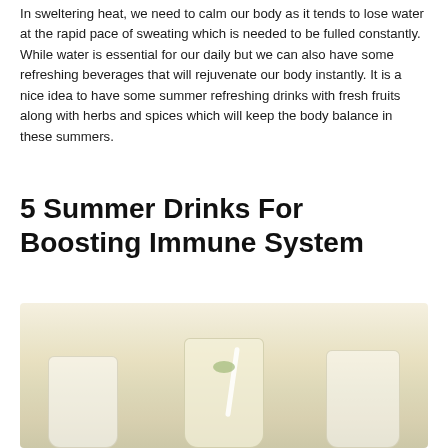In sweltering heat, we need to calm our body as it tends to lose water at the rapid pace of sweating which is needed to be fulled constantly. While water is essential for our daily but we can also have some refreshing beverages that will rejuvenate our body instantly. It is a nice idea to have some summer refreshing drinks with fresh fruits along with herbs and spices which will keep the body balance in these summers.
5 Summer Drinks For Boosting Immune System
[Figure (photo): Photo of light-colored summer drinks in cups/glasses, appearing to be lemonade or similar refreshing beverages, with a straw and garnish visible, on a pale cream/yellow background.]